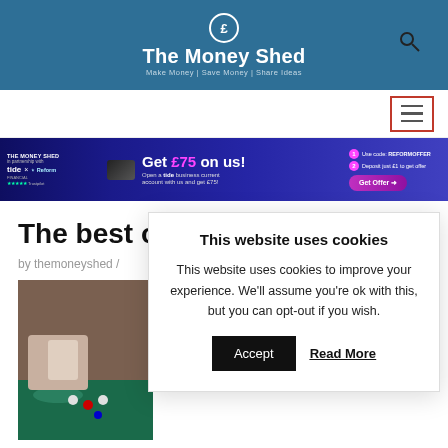[Figure (logo): The Money Shed website header with logo, title, tagline and search icon on blue background]
[Figure (screenshot): Navigation bar with hamburger menu button (red border)]
[Figure (infographic): Tide x Reform Financial banner ad: Get £75 on us! Open a tide business current account. Use code REFORMOFFER, deposit just £1 to get offer. Get Offer button.]
The best o...
by themoneyshed /...
[Figure (photo): Hands at a casino table with chips, roulette table visible]
This website uses cookies

This website uses cookies to improve your experience. We'll assume you're ok with this, but you can opt-out if you wish.

Accept   Read More